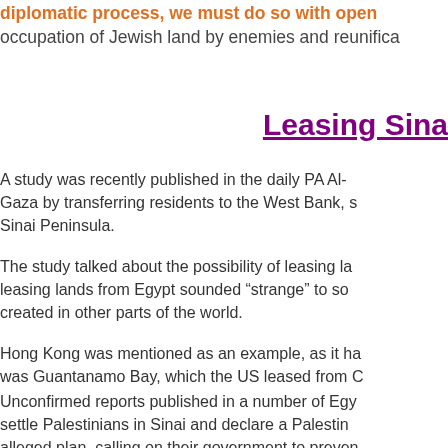diplomatic process, we must do so with open... occupation of Jewish land by enemies and reunifica...
Leasing Sina...
A study was recently published in the daily PA Al-... Gaza by transferring residents to the West Bank, s... Sinai Peninsula.
The study talked about the possibility of leasing la... leasing lands from Egypt sounded “strange” to so... created in other parts of the world.
Hong Kong was mentioned as an example, as it ha... was Guantanamo Bay, which the US leased from C...
Unconfirmed reports published in a number of Egy... settle Palestinians in Sinai and declare a Palestin... alleged plan, calling on their government to preven... descendants of Egyptians, who migrated over the... Option is the best two-state solution - the way to f... kind of enforceable peace!)